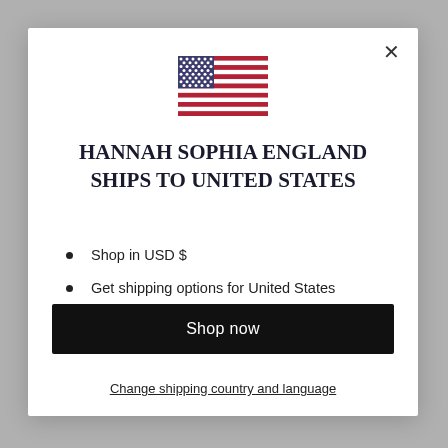[Figure (illustration): US flag emoji/icon displayed centered at top of modal]
HANNAH SOPHIA ENGLAND SHIPS TO UNITED STATES
Shop in USD $
Get shipping options for United States
Language set to English
Shop now
Change shipping country and language